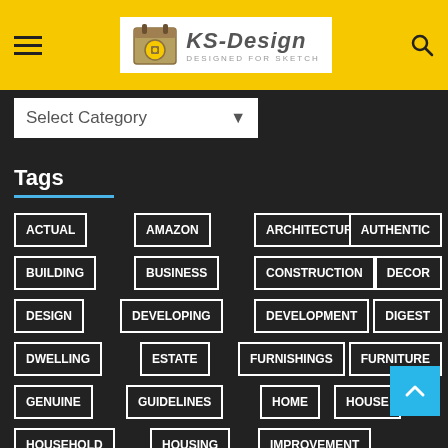KS-Design - DESIGNED FOR SKETCH
Select Category
Tags
ACTUAL
AMAZON
ARCHITECTURAL
AUTHENTIC
BUILDING
BUSINESS
CONSTRUCTION
DECOR
DESIGN
DEVELOPING
DEVELOPMENT
DIGEST
DWELLING
ESTATE
FURNISHINGS
FURNITURE
GENUINE
GUIDELINES
HOME
HOUSE
HOUSEHOLD
HOUSING
IMPROVEMENT